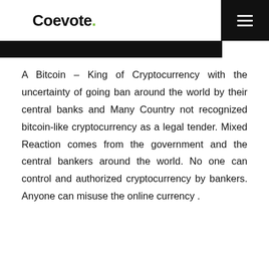Coevote.
A Bitcoin – King of Cryptocurrency with the uncertainty of going ban around the world by their central banks and Many Country not recognized bitcoin-like cryptocurrency as a legal tender. Mixed Reaction comes from the government and the central bankers around the world. No one can control and authorized cryptocurrency by bankers. Anyone can misuse the online currency .